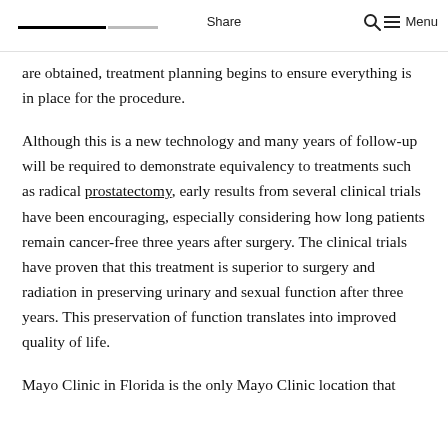Share  Menu
are obtained, treatment planning begins to ensure everything is in place for the procedure.
Although this is a new technology and many years of follow-up will be required to demonstrate equivalency to treatments such as radical prostatectomy, early results from several clinical trials have been encouraging, especially considering how long patients remain cancer-free three years after surgery. The clinical trials have proven that this treatment is superior to surgery and radiation in preserving urinary and sexual function after three years. This preservation of function translates into improved quality of life.
Mayo Clinic in Florida is the only Mayo Clinic location that